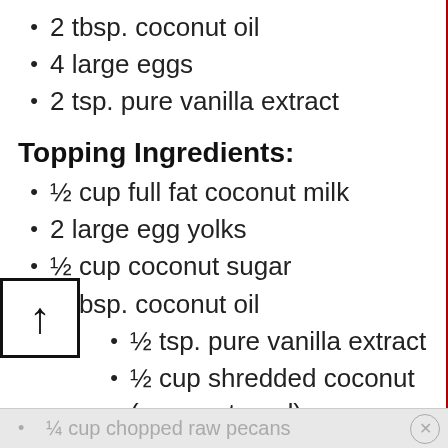2 tbsp. coconut oil
4 large eggs
2 tsp. pure vanilla extract
Topping Ingredients:
½ cup full fat coconut milk
2 large egg yolks
½ cup coconut sugar
3 tbsp. coconut oil
½ tsp. pure vanilla extract
½ cup shredded coconut (unsweetened)
¼ cup chopped raw pecans